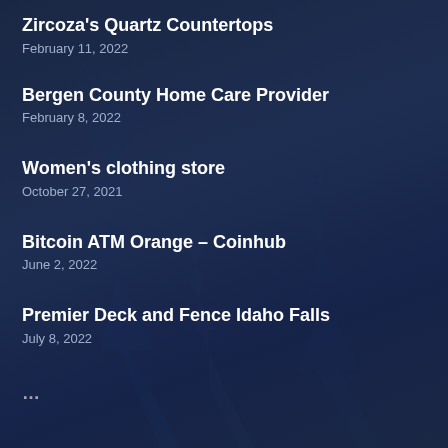Zircoza's Quartz Countertops
February 11, 2022
Bergen County Home Care Provider
February 8, 2022
Women's clothing store
October 27, 2021
Bitcoin ATM Orange – Coinhub
June 2, 2022
Premier Deck and Fence Idaho Falls
July 8, 2022
…